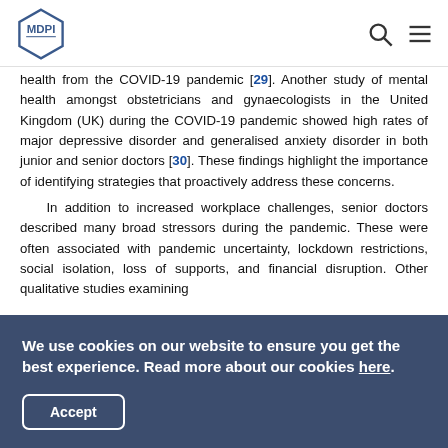[Figure (logo): MDPI hexagon logo with text MDPI]
health from the COVID-19 pandemic [29]. Another study of mental health amongst obstetricians and gynaecologists in the United Kingdom (UK) during the COVID-19 pandemic showed high rates of major depressive disorder and generalised anxiety disorder in both junior and senior doctors [30]. These findings highlight the importance of identifying strategies that proactively address these concerns.
In addition to increased workplace challenges, senior doctors described many broad stressors during the pandemic. These were often associated with pandemic uncertainty, lockdown restrictions, social isolation, loss of supports, and financial disruption. Other qualitative studies examining
We use cookies on our website to ensure you get the best experience. Read more about our cookies here.
Accept